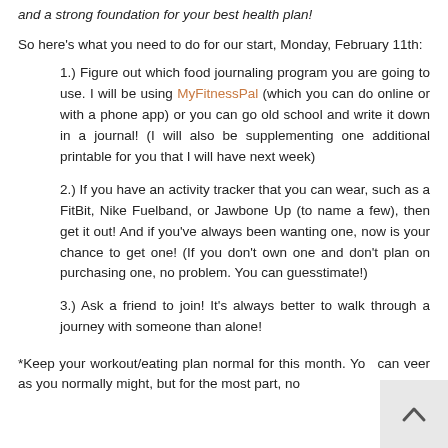and a strong foundation for your best health plan!
So here's what you need to do for our start, Monday, February 11th:
1.) Figure out which food journaling program you are going to use. I will be using MyFitnessPal (which you can do online or with a phone app) or you can go old school and write it down in a journal! (I will also be supplementing one additional printable for you that I will have next week)
2.) If you have an activity tracker that you can wear, such as a FitBit, Nike Fuelband, or Jawbone Up (to name a few), then get it out! And if you've always been wanting one, now is your chance to get one! (If you don't own one and don't plan on purchasing one, no problem. You can guesstimate!)
3.) Ask a friend to join! It's always better to walk through a journey with someone than alone!
*Keep your workout/eating plan normal for this month. You can veer as you normally might, but for the most part, no